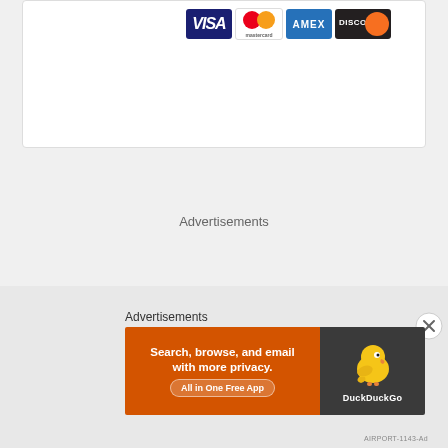[Figure (logo): Credit card payment logos: VISA, Mastercard, AMEX, DISCOVER displayed in a white card area]
Advertisements
[Figure (screenshot): Close (X) button circle icon]
Advertisements
[Figure (illustration): DuckDuckGo advertisement banner: 'Search, browse, and email with more privacy. All in One Free App' with DuckDuckGo duck logo on dark background]
AIRPORT-1143-Ad